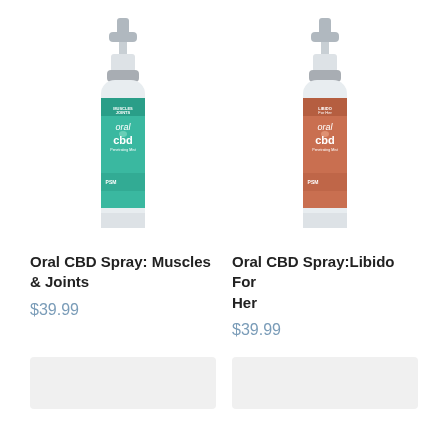[Figure (photo): Oral CBD Spray bottle for Muscles & Joints with teal/green label and pump top]
[Figure (photo): Oral CBD Spray bottle for Libido For Her with terracotta/salmon label and pump top]
Oral CBD Spray: Muscles & Joints
$39.99
Oral CBD Spray:Libido For Her
$39.99